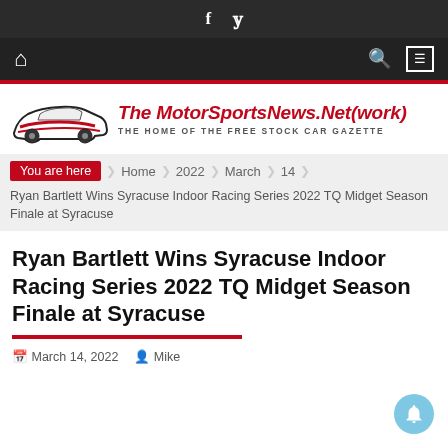f  ꟸ (social icons top bar)
Home | Search | Menu (nav bar)
[Figure (logo): The MotorSportsNews.Net(work) logo with stylized car silhouette and tagline THE HOME OF THE FREE STOCK CAR GAZETTE]
You are here  Home  2022  March  14  Ryan Bartlett Wins Syracuse Indoor Racing Series 2022 TQ Midget Season Finale at Syracuse
Ryan Bartlett Wins Syracuse Indoor Racing Series 2022 TQ Midget Season Finale at Syracuse
March 14, 2022   Mike